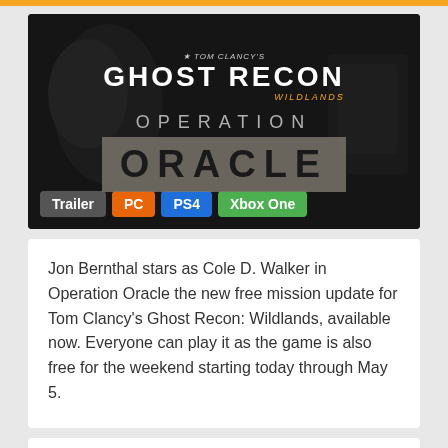[Figure (screenshot): Tom Clancy's Ghost Recon Wildlands - Operation Oracle promotional image with soldier figure, logo, and platform badges (Trailer, PC, PS4, Xbox One)]
Jon Bernthal stars as Cole D. Walker in Operation Oracle the new free mission update for Tom Clancy's Ghost Recon: Wildlands, available now. Everyone can play it as the game is also free for the weekend starting today through May 5.
Sam Fisher joins Ghost Recon: Wildlands
Game2k // Tuesday, April 10, 2018 | 3:24 PM // 9 comments